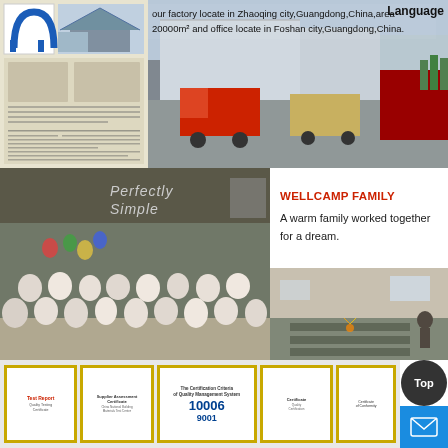[Figure (photo): Company logo (blue arch shape) top left, small product image beside it, newspaper/article thumbnail below logo, factory exterior photo with trucks on right side of top section]
our factory locate in Zhaoqing city,Guangdong,China,area 20000m² and office locate in Foshan city,Guangdong,China.
Language
[Figure (photo): Team group photo with Perfectly Simple banner in background, balloons, staff in white shirts]
WELLCAMP FAMILY
A warm family worked together for a dream.
[Figure (photo): Factory interior photo showing steel fabrication work]
[Figure (photo): Row of certificates and awards in gold frames including Test Report, Supplier Assessment Certificate, ISO 9001 Quality Management System certificate, and other certifications]
Top